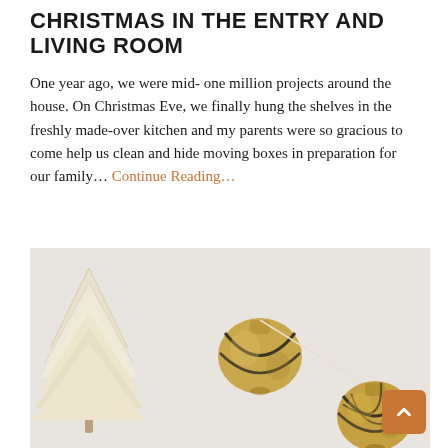CHRISTMAS IN THE ENTRY AND LIVING ROOM
One year ago, we were mid- one million projects around the house. On Christmas Eve, we finally hung the shelves in the freshly made-over kitchen and my parents were so gracious to come help us clean and hide moving boxes in preparation for our family... Continue Reading...
[Figure (photo): A styled Christmas flat-lay photo showing a white bottle-brush Christmas tree on the left and two gold jingle bells connected by a thin string against a light grey/white background.]